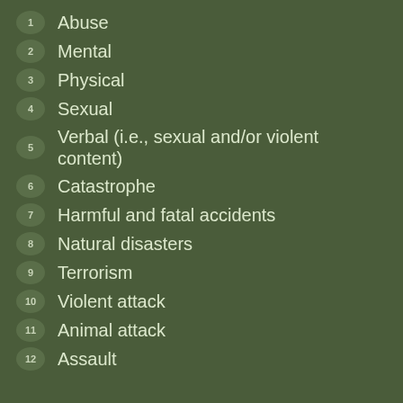1 Abuse
2 Mental
3 Physical
4 Sexual
5 Verbal (i.e., sexual and/or violent content)
6 Catastrophe
7 Harmful and fatal accidents
8 Natural disasters
9 Terrorism
10 Violent attack
11 Animal attack
12 Assault